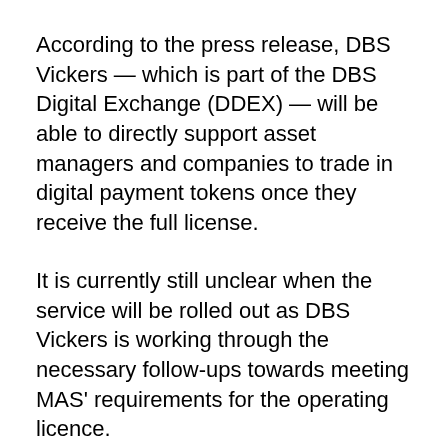According to the press release, DBS Vickers — which is part of the DBS Digital Exchange (DDEX) — will be able to directly support asset managers and companies to trade in digital payment tokens once they receive the full license.
It is currently still unclear when the service will be rolled out as DBS Vickers is working through the necessary follow-ups towards meeting MAS' requirements for the operating licence.
Eng-Kwok Seat Moey, Group Head of Capital Markets at DBS, commented: “We are pleased to have made steady progress on our digital asset ecosystem in the six months